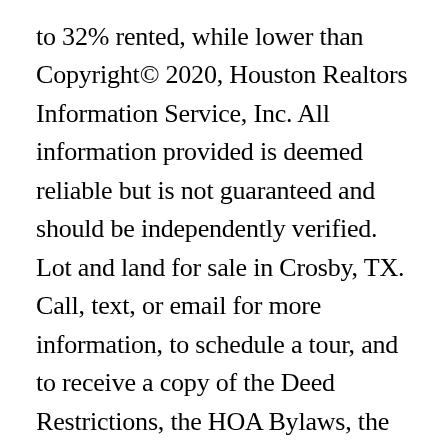to 32% rented, while lower than Copyright© 2020, Houston Realtors Information Service, Inc. All information provided is deemed reliable but is not guaranteed and should be independently verified. Lot and land for sale in Crosby, TX. Call, text, or email for more information, to schedule a tour, and to receive a copy of the Deed Restrictions, the HOA Bylaws, the Recorded Plat, etc. Lots Land For Sale. Compare properties, browse amenities and find your ideal property in Crosby County, Texas Nearby access to Hwy-90 for easy approx 30 min commute to Downtown Houston. Currently there are 126 homes for sale, 1 condos and apartments for sale and 48 acres land for sale in Crosby County. Real...